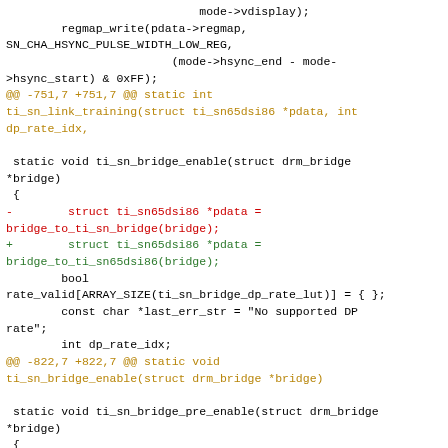mode->vdisplay);
        regmap_write(pdata->regmap,
SN_CHA_HSYNC_PULSE_WIDTH_LOW_REG,
                        (mode->hsync_end - mode->hsync_start) & 0xFF);
@@ -751,7 +751,7 @@ static int ti_sn_link_training(struct ti_sn65dsi86 *pdata, int dp_rate_idx,

 static void ti_sn_bridge_enable(struct drm_bridge *bridge)
 {
-        struct ti_sn65dsi86 *pdata = bridge_to_ti_sn_bridge(bridge);
+        struct ti_sn65dsi86 *pdata = bridge_to_ti_sn65dsi86(bridge);
        bool rate_valid[ARRAY_SIZE(ti_sn_bridge_dp_rate_lut)] = { };
        const char *last_err_str = "No supported DP rate";
        int dp_rate_idx;
@@ -822,7 +822,7 @@ static void ti_sn_bridge_enable(struct drm_bridge *bridge)

 static void ti_sn_bridge_pre_enable(struct drm_bridge *bridge)
 {
-        struct ti_sn65dsi86 *pdata = bridge_to_ti_sn_bridge(bridge);
+        struct ti_sn65dsi86 *pdata =